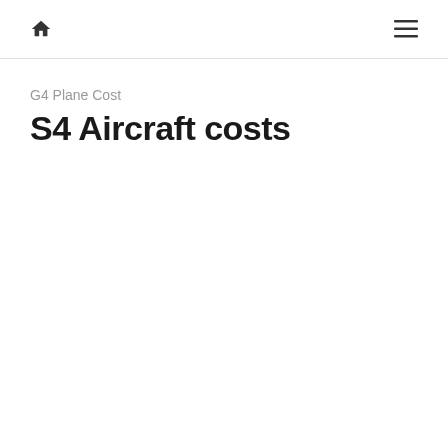🏠  ≡
G4 Plane Cost
S4 Aircraft costs